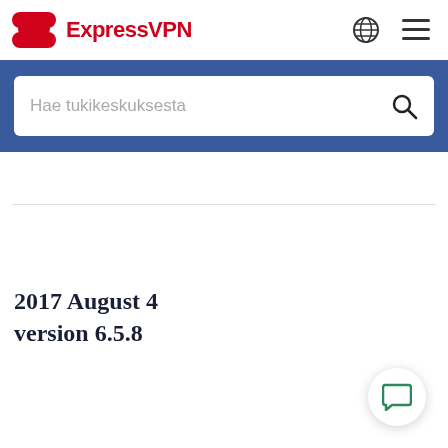ExpressVPN
[Figure (screenshot): Search box with placeholder text 'Hae tukikeskuksesta' on a blue background]
2017 August 4 version 6.5.8